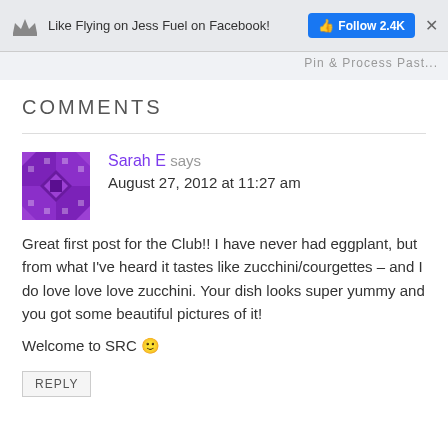Like Flying on Jess Fuel on Facebook! Follow 2.4K ×
COMMENTS
Sarah E says
August 27, 2012 at 11:27 am
Great first post for the Club!! I have never had eggplant, but from what I've heard it tastes like zucchini/courgettes – and I do love love love zucchini. Your dish looks super yummy and you got some beautiful pictures of it!
Welcome to SRC 🙂
REPLY